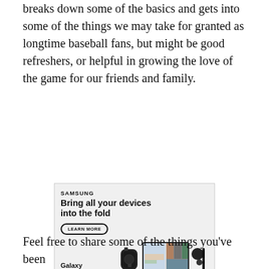breaks down some of the basics and gets into some of the things we may take for granted as longtime baseball fans, but might be good refreshers, or helpful in growing the love of the game for our friends and family.
[Figure (illustration): Samsung advertisement for Galaxy Z Fold4. Shows Samsung logo, headline 'Bring all your devices into the fold', a 'LEARN MORE' button, product name 'Galaxy Z Fold4', and images of a smartwatch, a foldable phone in use with a video call, and wireless earbuds/stylus. Disclaimer text at bottom reads: 'Products sold separately. S Pen (optional) sold separately, compatible only with main display. Requires S Pen Fold Edition or S Pen Pro. Microsoft Teams requires separate download.']
Feel free to share some of the things you've been